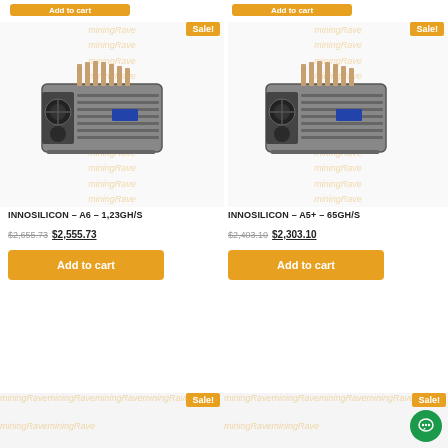[Figure (screenshot): Top partial product card with orange Add to cart button on right side]
[Figure (photo): INNOSILICON A6 mining hardware unit with two fans]
INNOSILICON – A6 – 1,23GH/S
$2,655.73  $2,555.73
Add to cart
[Figure (photo): INNOSILICON A5+ mining hardware unit with two fans]
INNOSILICON – A5+ – 65GH/S
$2,403.10  $2,303.10
Add to cart
Sale!
Sale!
[Figure (screenshot): Bottom partial product cards with Sale! badges and watermark backgrounds]